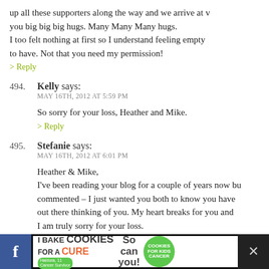up all these supporters along the way and we arrive at v you big big big hugs. Many Many Many hugs. I too felt nothing at first so I understand feeling empty to have. Not that you need my permission!
> Reply
494. Kelly says: MAY 16TH, 2012 AT 5:59 PM — So sorry for your loss, Heather and Mike. > Reply
495. Stefanie says: MAY 16TH, 2012 AT 6:01 PM — Heather & Mike, I've been reading your blog for a couple of years now bu commented – I just wanted you both to know you have out there thinking of you. My heart breaks for you and I am truly sorry for your loss.
[Figure (other): Advertisement banner: I Bake Cookies For A CURE - Haldora, 11 Cancer Survivor - So can you! cookies for kids cancer logo]